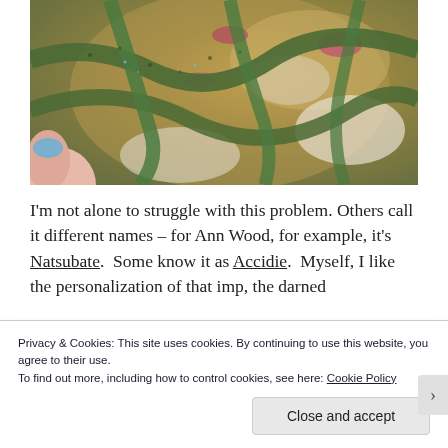[Figure (photo): Close-up photo of an embroidered or quilted textile with green textured bands and floral patterns in gold, white, and pink/red. A hand with blue nail polish is visible at the bottom left, pointing to the textile detail.]
I'm not alone to struggle with this problem. Others call it different names – for Ann Wood, for example, it's Natsubate.  Some know it as Accidie.  Myself, I like the personalization of that imp, the darned
Privacy & Cookies: This site uses cookies. By continuing to use this website, you agree to their use.
To find out more, including how to control cookies, see here: Cookie Policy
Close and accept